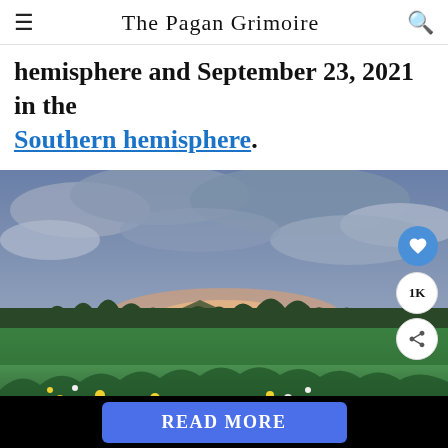The Pagan Grimoire
hemisphere and September 23, 2021 in the Southern hemisphere.
[Figure (photo): A wide meadow filled with colorful wildflowers (yellow, red, white) in the foreground, with a forest of evergreen trees in the middle distance, dramatic cloudy sky with pink and orange sunset glow on the horizon.]
READ MORE